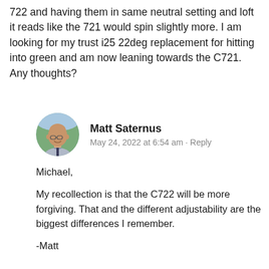722 and having them in same neutral setting and loft it reads like the 721 would spin slightly more. I am looking for my trust i25 22deg replacement for hitting into green and am now leaning towards the C721. Any thoughts?
[Figure (photo): Circular avatar photo of Matt Saternus, a bald man wearing a grey shirt, outdoors with green trees in background]
Matt Saternus
May 24, 2022 at 6:54 am · Reply
Michael,

My recollection is that the C722 will be more forgiving. That and the different adjustability are the biggest differences I remember.

-Matt